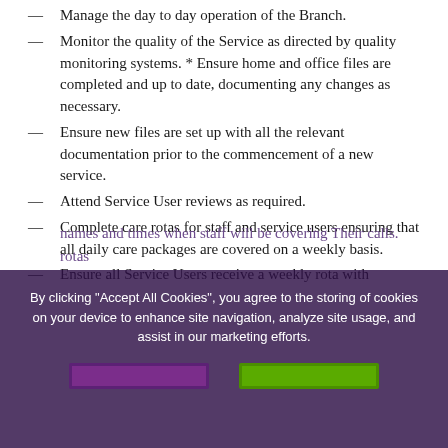— Manage the day to day operation of the Branch.
— Monitor the quality of the Service as directed by quality monitoring systems. * Ensure home and office files are completed and up to date, documenting any changes as necessary.
— Ensure new files are set up with all the relevant documentation prior to the commencement of a new service.
— Attend Service User reviews as required.
— Complete care rotas for staff and service users ensuring that all daily care packages are covered on a weekly basis.
— Ensure all Service Users receive a weekly rota with names and times when staff will be covering Their calls. [partially obscured by cookie overlay] rotas
By clicking "Accept All Cookies", you agree to the storing of cookies on your device to enhance site navigation, analyze site usage, and assist in our marketing efforts.